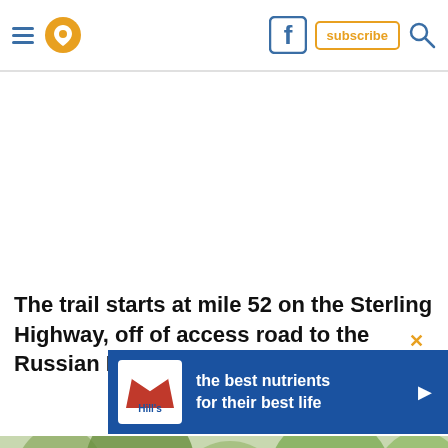Navigation bar with hamburger menu, location pin icon, Facebook icon, subscribe button, and search icon
The trail starts at mile 52 on the Sterling Highway, off of access road to the Russian River Campground.
[Figure (infographic): Hill's pet nutrition advertisement banner with blue background showing text 'the best nutrients for their best life' with Hill's logo on the left]
[Figure (photo): Nature/forest scene with trees visible at the bottom of the page]